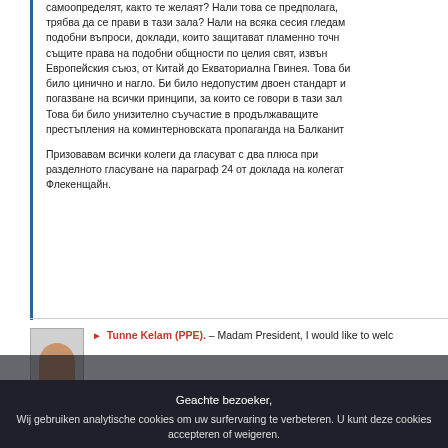самоопределят, както те желаят? Нали това се предполага, трябва да се прави в тази зала? Нали на всяка сесия гледаме подобни въпроси, доклади, които защитават пламенно точно същите права на подобни общности по целия свят, извън Европейския съюз, от Китай до Екваториална Гвинея. Това би било цинично и нагло. Би било недопустим двоен стандарт и погазване на всички принципи, за които се говори в тази зала. Това би било унизително съучастие в продължаващите престъпления на коминтерновската пропаганда на Балканите.
Призовавам всички колеги да гласуват с два плюса при разделното гласуване на параграф 24 от доклада на колегата Флекенщайн.
Tunne Kelam (PPE). – Madam President, I would like to welc
Geachte bezoeker, Wij gebruiken analytische cookies om uw surfervaring te verbeteren. U kunt deze cookies accepteren of weigeren.
Ik accepteer analytische cookies
Ik weiger analytische cookies
Nadere informatie over andere cookies en serverlogs die we gebruiken kunt u vinden in ons gegevensbeschermingsbeleid , ons cookiebeleid en onze lijst van cookies.